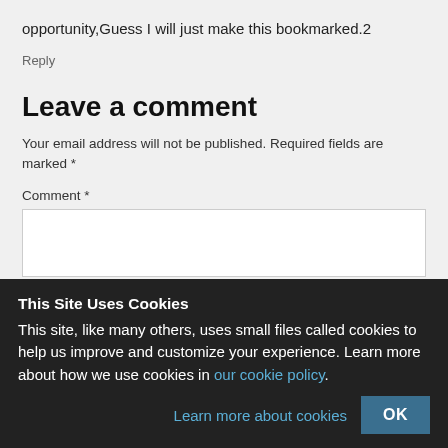opportunity,Guess I will just make this bookmarked.2
Reply
Leave a comment
Your email address will not be published. Required fields are marked *
Comment *
This Site Uses Cookies
This site, like many others, uses small files called cookies to help us improve and customize your experience. Learn more about how we use cookies in our cookie policy.
Learn more about cookies  OK